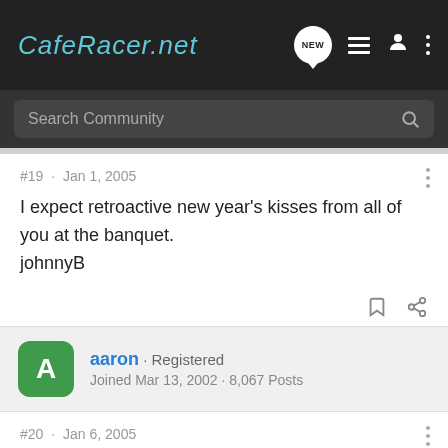CafeRacer.net
#19 · Jan 1, 2005
I expect retroactive new year's kisses from all of you at the banquet.
johnnyB
aaron · Registered
Joined Mar 13, 2002 · 8,067 Posts
#20 · Jan 6, 2005